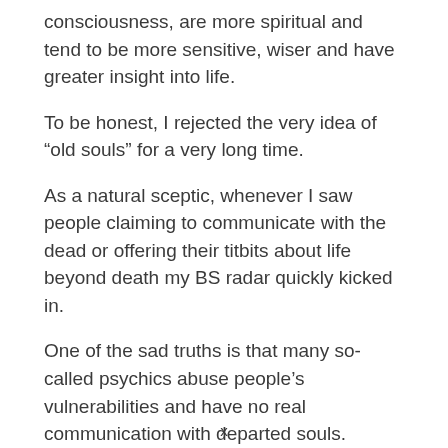consciousness, are more spiritual and tend to be more sensitive, wiser and have greater insight into life.
To be honest, I rejected the very idea of “old souls” for a very long time.
As a natural sceptic, whenever I saw people claiming to communicate with the dead or offering their titbits about life beyond death my BS radar quickly kicked in.
One of the sad truths is that many so-called psychics abuse people’s vulnerabilities and have no real communication with departed souls.
I see this with many TV psychics that use a process of
x